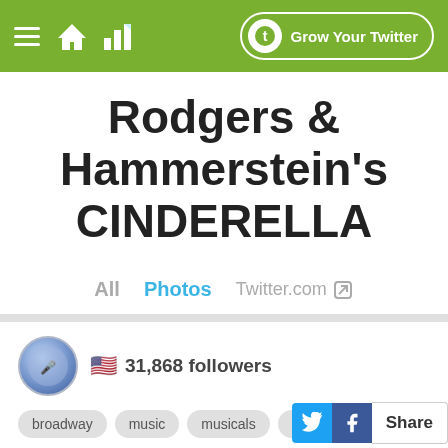Grow Your Twitter
Rodgers & Hammerstein's CINDERELLA
All   Photos   Twitter.com
31,868 followers
broadway
music
musicals
theatre
theater
Share